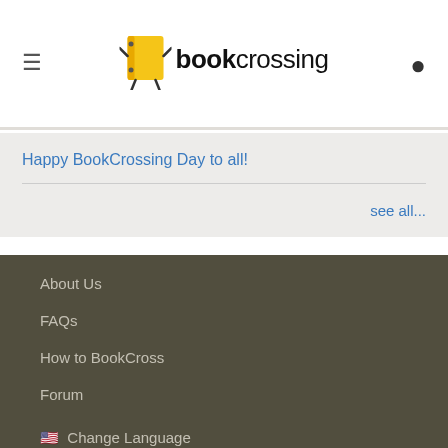BookCrossing
Happy BookCrossing Day to all!
see all...
About Us
FAQs
How to BookCross
Forum
🇺🇸 Change Language
Press & Media
Team
Contact Us